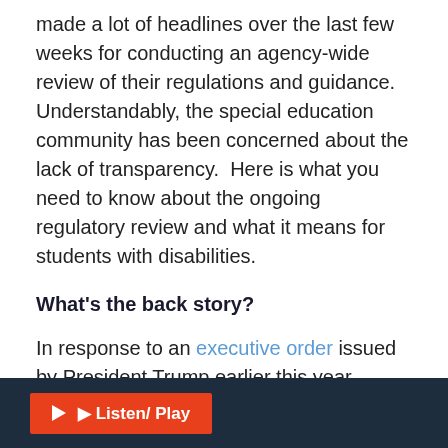made a lot of headlines over the last few weeks for conducting an agency-wide review of their regulations and guidance. Understandably, the special education community has been concerned about the lack of transparency.  Here is what you need to know about the ongoing regulatory review and what it means for students with disabilities.
What's the back story?
In response to an executive order issued by President Trump earlier this year, USED and all other government agencies are in the process of reviewing every regulation and policy document they've issued over the years. Their goal is to identify that/eliminat...
Listen/ Play